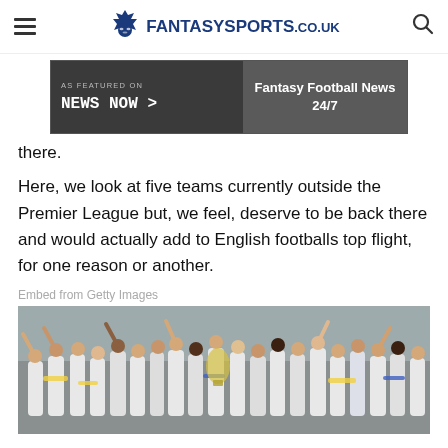FantasySports.co.uk
[Figure (other): Advertisement banner: AS FEATURED ON News Now > | Fantasy Football News 24/7]
there.
Here, we look at five teams currently outside the Premier League but, we feel, deserve to be back there and would actually add to English footballs top flight, for one reason or another.
Embed from Getty Images
[Figure (photo): Football team celebrating with trophy, wearing white and blue kit, holding scarves aloft]